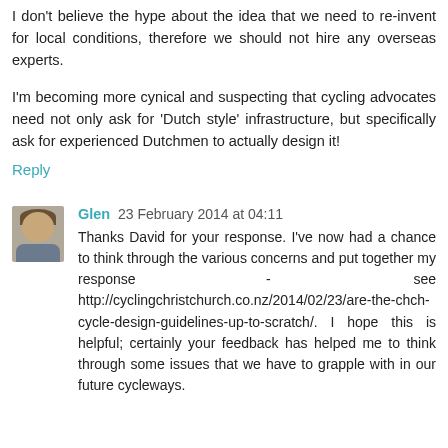I don't believe the hype about the idea that we need to reinvent for local conditions, therefore we should not hire any overseas experts.
I'm becoming more cynical and suspecting that cycling advocates need not only ask for 'Dutch style' infrastructure, but specifically ask for experienced Dutchmen to actually design it!
Reply
Glen 23 February 2014 at 04:11
Thanks David for your response. I've now had a chance to think through the various concerns and put together my response - see http://cyclingchristchurch.co.nz/2014/02/23/are-the-chch-cycle-design-guidelines-up-to-scratch/. I hope this is helpful; certainly your feedback has helped me to think through some issues that we have to grapple with in our future cycleways.